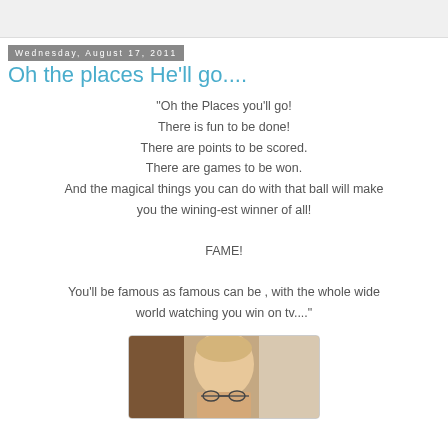Wednesday, August 17, 2011
Oh the places He'll go....
"Oh the Places you'll go! There is fun to be done! There are points to be scored. There are games to be won. And the magical things you can do with that ball will make you the wining-est winner of all!

FAME!

You'll be famous as famous can be , with the whole wide world watching you win on tv...."
[Figure (photo): A photo of a bald man wearing glasses, shown from the shoulders up, indoors]